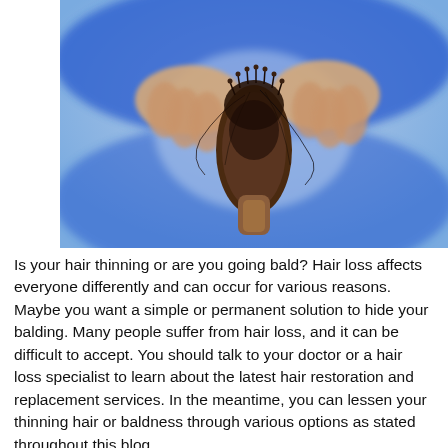[Figure (photo): Close-up photo of a person in a blue shirt holding a round hair brush filled with shed hair, showing hair loss.]
Is your hair thinning or are you going bald? Hair loss affects everyone differently and can occur for various reasons. Maybe you want a simple or permanent solution to hide your balding. Many people suffer from hair loss, and it can be difficult to accept. You should talk to your doctor or a hair loss specialist to learn about the latest hair restoration and replacement services. In the meantime, you can lessen your thinning hair or baldness through various options as stated throughout this blog.